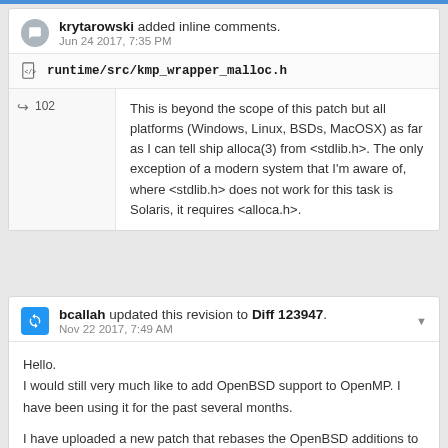krytarowski added inline comments. Jun 24 2017, 7:35 PM
runtime/src/kmp_wrapper_malloc.h
102 – This is beyond the scope of this patch but all platforms (Windows, Linux, BSDs, MacOSX) as far as I can tell ship alloca(3) from <stdlib.h>. The only exception of a modern system that I'm aware of, where <stdlib.h> does not work for this task is Solaris, it requires <alloca.h>.
bcallah updated this revision to Diff 123947. Nov 22 2017, 7:49 AM
Hello.
I would still very much like to add OpenBSD support to OpenMP. I have been using it for the past several months.
I have uploaded a new patch that rebases the OpenBSD additions to